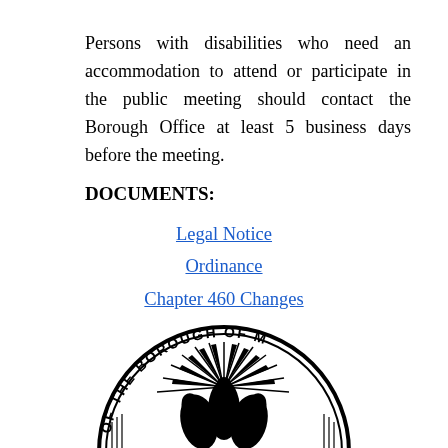Persons with disabilities who need an accommodation to attend or participate in the public meeting should contact the Borough Office at least 5 business days before the meeting.
DOCUMENTS:
Legal Notice
Ordinance
Chapter 460 Changes
[Figure (logo): Borough official seal — circular black and white emblem reading 'OF THE BOROUGH OF' with eagle/bird imagery in the center]